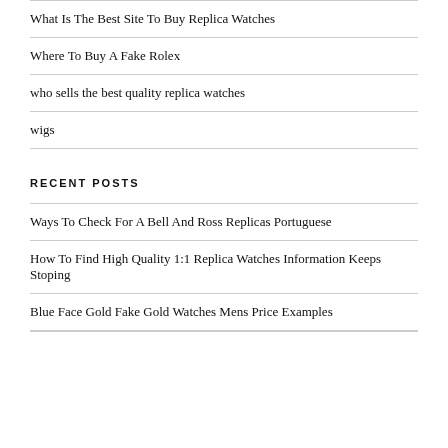What Is The Best Site To Buy Replica Watches
Where To Buy A Fake Rolex
who sells the best quality replica watches
wigs
RECENT POSTS
Ways To Check For A Bell And Ross Replicas Portuguese
How To Find High Quality 1:1 Replica Watches Information Keeps Stoping
Blue Face Gold Fake Gold Watches Mens Price Examples